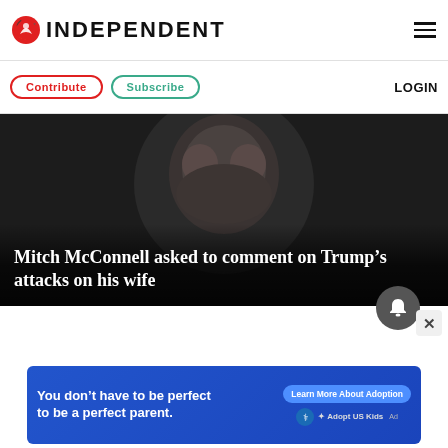INDEPENDENT
Contribute   Subscribe   LOGIN
[Figure (photo): Close-up photo of Mitch McConnell, dark background, with headline overlay: Mitch McConnell asked to comment on Trump’s attacks on his wife]
Mitch McConnell asked to comment on Trump’s attacks on his wife
[Figure (infographic): Advertisement banner: 'You don’t have to be perfect to be a perfect parent.' with 'Learn More About Adoption' button and Adopt US Kids HHS logo]